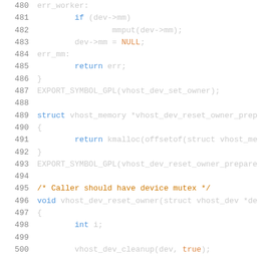[Figure (screenshot): Source code listing showing C code lines 480-500, featuring error handling labels, struct definitions, and function declarations for vhost device operations in a dark-themed code editor.]